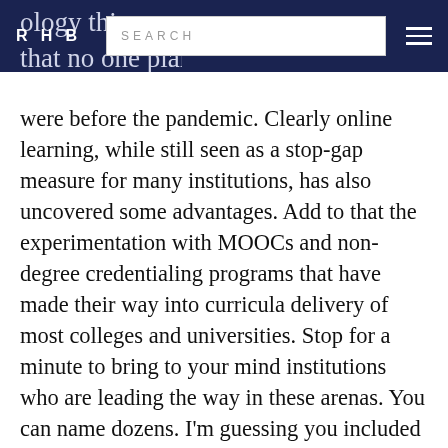RHB | SEARCH [search box] [menu]
were before the pandemic. Clearly online learning, while still seen as a stop-gap measure for many institutions, has also uncovered some advantages. Add to that the experimentation with MOOCs and non-degree credentialing programs that have made their way into curricula delivery of most colleges and universities. Stop for a minute to bring to your mind institutions who are leading the way in these arenas. You can name dozens. I'm guessing you included Southern New Hampshire; SNHU comes to students in their own bus.